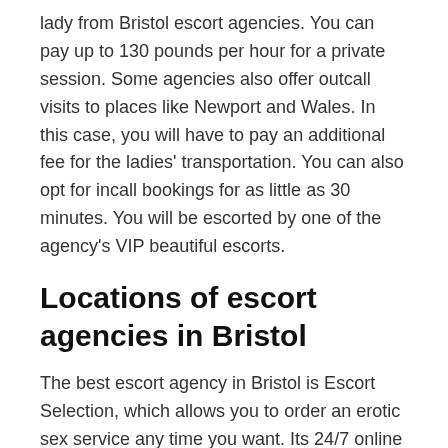lady from Bristol escort agencies. You can pay up to 130 pounds per hour for a private session. Some agencies also offer outcall visits to places like Newport and Wales. In this case, you will have to pay an additional fee for the ladies' transportation. You can also opt for incall bookings for as little as 30 minutes. You will be escorted by one of the agency's VIP beautiful escorts.
Locations of escort agencies in Bristol
The best escort agency in Bristol is Escort Selection, which allows you to order an erotic sex service any time you want. Its 24/7 online ordering system makes it convenient for you to book your sex service at any